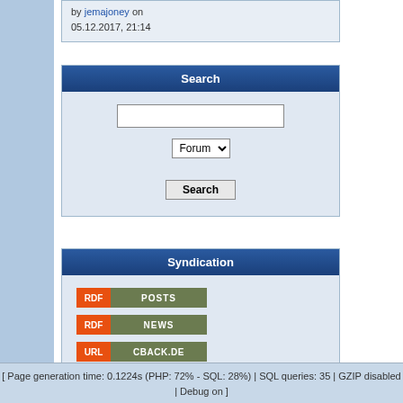by jemajoney on 05.12.2017, 21:14
Search
[Figure (screenshot): Search widget with text input, Forum dropdown, and Search button]
Syndication
[Figure (screenshot): Syndication widget with RDF POSTS, RDF NEWS, and URL CBACK.DE badges]
Powered by Orion ba CBACK. All
[ Page generation time: 0.1224s (PHP: 72% - SQL: 28%) | SQL queries: 35 | GZIP disabled | Debug on ]